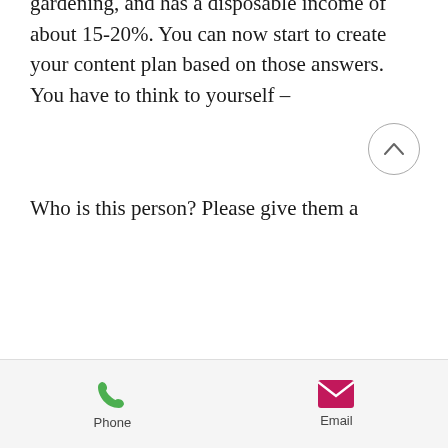these questions allows you to develop the most relevant content marketing plan. For example, if you sell reusable cutlery and tumblers made with eco-friendly materials and you have determined that your target market is professional women, ages 35-50, with one child or more, an income of $65k-100k, homeowner, lives in the northeast United States, who enjoys hiking and gardening, and has a disposable income of about 15-20%. You can now start to create your content plan based on those answers. You have to think to yourself –
Who is this person? Please give them a
Phone   Email